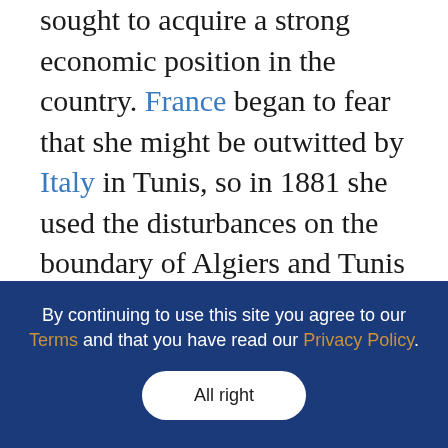sought to acquire a strong economic position in the country. France began to fear that she might be outwitted by Italy in Tunis, so in 1881 she used the disturbances on the boundary of Algiers and Tunis as a pretext for military interference. In April, 1881, in spite of the protests of the bey and the Porte, an army of 30,000 French soldiers advanced from Algiers into Tunis, and readily overcame the resistance of the tribes. A French fleet appeared before the capital, and a squadron landed at Biserta a brigade which advanced against the City of Tunis from the land side. Unable to oppose this force, the bey was obliged to sign on May 12 the Treaty of Kasr el-Said, also called the Bardo Treaty, which transformed Tunis into a French protectorate. The revolt of the native tribes
By continuing to use this site you agree to our Terms and that you have read our Privacy Policy.
All right